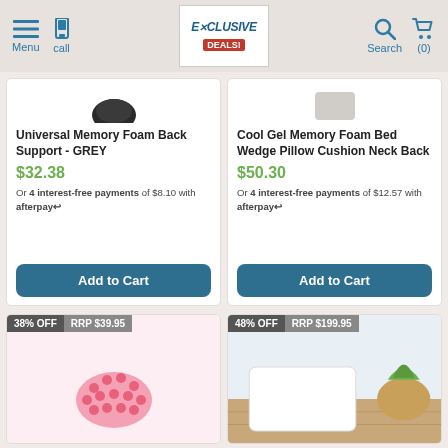Menu | Call | Exclusive Deals | Search | (0)
[Figure (screenshot): Partial product image - black object visible at top of left card]
Universal Memory Foam Back Support - GREY
$32.38
Or 4 interest-free payments of $8.10 with afterpay
Add to Cart
[Figure (screenshot): Partial product image at top of right card]
Cool Gel Memory Foam Bed Wedge Pillow Cushion Neck Back
$50.30
Or 4 interest-free payments of $12.57 with afterpay
Add to Cart
[Figure (photo): Pink massage/bath product with bumps. Badge: 38% OFF, RRP $39.95]
[Figure (photo): White/glass scale on wooden surface. Badge: 48% OFF, RRP $199.95]